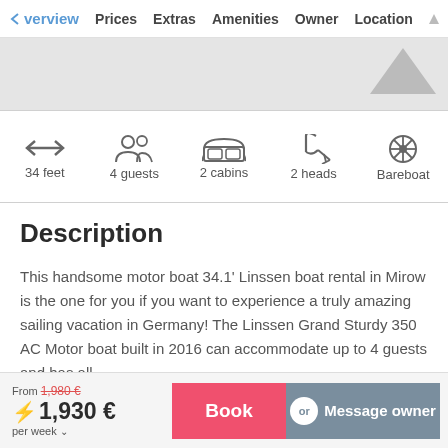Overview  Prices  Extras  Amenities  Owner  Location
[Figure (infographic): Boat specifications icons row: 34 feet (double arrow icon), 4 guests (people icon), 2 cabins (bed icon), 2 heads (shower icon), Bareboat (ship wheel icon)]
Description
This handsome motor boat 34.1' Linssen boat rental in Mirow is the one for you if you want to experience a truly amazing sailing vacation in Germany! The Linssen Grand Sturdy 350 AC Motor boat built in 2016 can accommodate up to 4 guests and has all
From 1,980€  ⚡ 1,930 €  per week  Book  or  Message owner